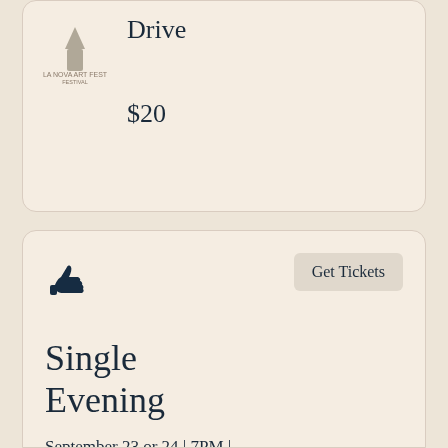[Figure (logo): Small logo icon top left of top card]
Drive
$20
[Figure (illustration): Thumbs up icon in dark navy blue]
Get Tickets
Single Evening
September 23 or 24 | 7PM | Lunenburg School of the Arts
$20